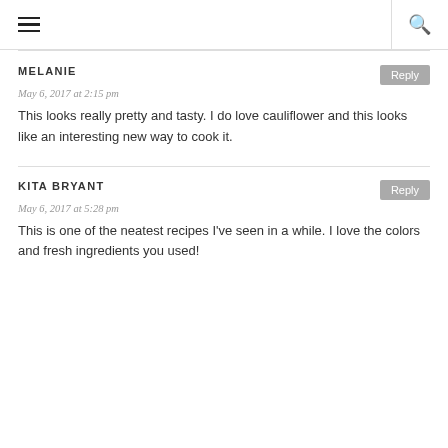≡  🔍
MELANIE
May 6, 2017 at 2:15 pm
This looks really pretty and tasty. I do love cauliflower and this looks like an interesting new way to cook it.
KITA BRYANT
May 6, 2017 at 5:28 pm
This is one of the neatest recipes I've seen in a while. I love the colors and fresh ingredients you used!